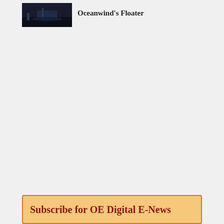[Figure (photo): Dark nighttime photo of an offshore floating wind structure on water]
Oceanwind's Floater
Subscribe for OE Digital E-News